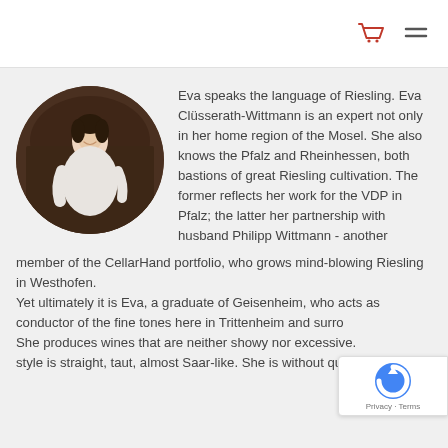[Shopping cart icon] [Menu icon]
[Figure (photo): Circular portrait photo of Eva Clüsserath-Wittmann, a woman in a white blouse standing in what appears to be a wine cellar or barrel room]
Eva speaks the language of Riesling. Eva Clüsserath-Wittmann is an expert not only in her home region of the Mosel. She also knows the Pfalz and Rheinhessen, both bastions of great Riesling cultivation. The former reflects her work for the VDP in Pfalz; the latter her partnership with husband Philipp Wittmann - another member of the CellarHand portfolio, who grows mind-blowing Riesling in Westhofen.
Yet ultimately it is Eva, a graduate of Geisenheim, who acts as conductor of the fine tones here in Trittenheim and surro… She produces wines that are neither showy nor excessive. style is straight, taut, almost Saar-like. She is without question